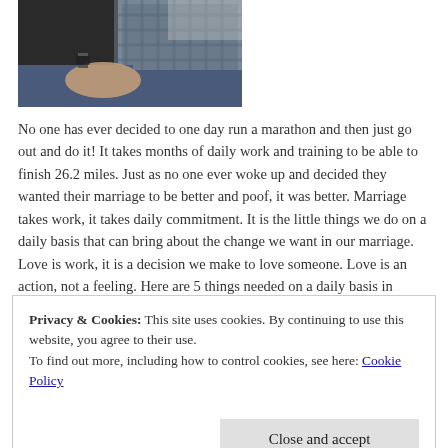[Figure (photo): Two people sitting close together, holding hands, wearing casual clothes. One in dark top, one in plaid shirt, both in jeans.]
No one has ever decided to one day run a marathon and then just go out and do it!  It takes months of daily work and training to be able to finish 26.2 miles.  Just as no one ever woke up and decided they wanted their marriage to be better and poof, it was better.  Marriage takes work, it takes daily commitment.  It is the little things we do on a daily basis that can bring about the change we want in our marriage.  Love is work, it is a decision we make to love someone.  Love is an action, not a feeling.  Here are 5 things needed on a daily basis in
Privacy & Cookies: This site uses cookies. By continuing to use this website, you agree to their use.
To find out more, including how to control cookies, see here: Cookie Policy
they will find God's purpose for their lives and fulfill that purpose